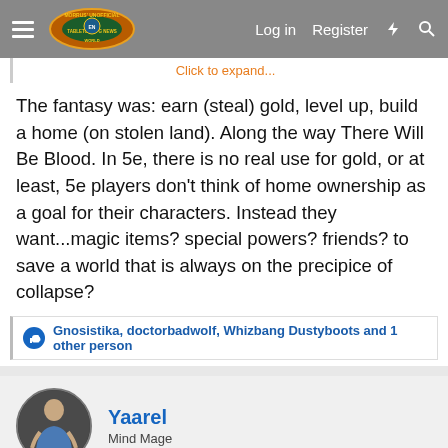Morrus' Unofficial Tabletop RPG News — Log in | Register
Click to expand...
The fantasy was: earn (steal) gold, level up, build a home (on stolen land). Along the way There Will Be Blood. In 5e, there is no real use for gold, or at least, 5e players don't think of home ownership as a goal for their characters. Instead they want...magic items? special powers? friends? to save a world that is always on the precipice of collapse?
Gnosistika, doctorbadwolf, Whizbang Dustyboots and 1 other person
Yaarel
Mind Mage
May 30, 2021
#89
Charlaquin said: